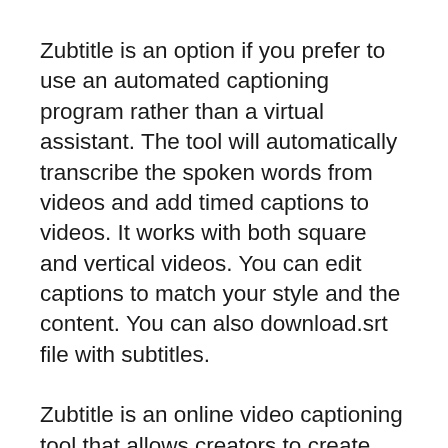Zubtitle is an option if you prefer to use an automated captioning program rather than a virtual assistant. The tool will automatically transcribe the spoken words from videos and add timed captions to videos. It works with both square and vertical videos. You can edit captions to match your style and the content. You can also download.srt file with subtitles.
Zubtitle is an online video captioning tool that allows creators to create better-looking videos by adding subtitles and captions. Zubtitle can caption any video format thanks to Google's speech technology. Simply upload a video to the tool, select a caption style, and let Zubtitle do the rest. The tool is